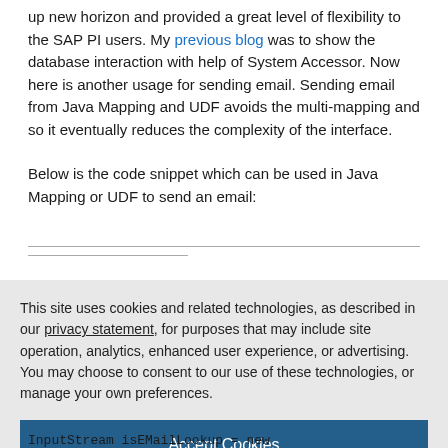up new horizon and provided a great level of flexibility to the SAP PI users. My previous blog was to show the database interaction with help of System Accessor. Now here is another usage for sending email. Sending email from Java Mapping and UDF avoids the multi-mapping and so it eventually reduces the complexity of the interface.
Below is the code snippet which can be used in Java Mapping or UDF to send an email:
This site uses cookies and related technologies, as described in our privacy statement, for purposes that may include site operation, analytics, enhanced user experience, or advertising. You may choose to consent to our use of these technologies, or manage your own preferences.
Accept Cookies
More Information
Privacy Policy | Powered by: TrustArc
InputStream isEMailLookup = new